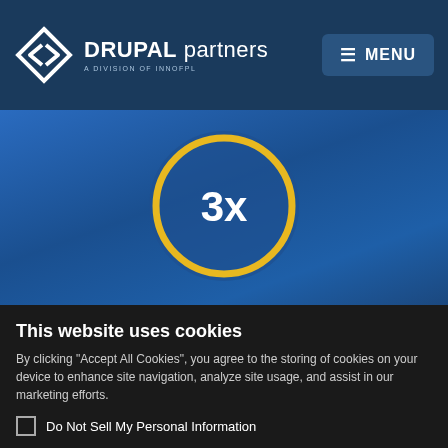[Figure (logo): Drupal Partners logo — diamond/arrow icon in white on dark blue, with text DRUPAL partners A DIVISION OF INNOFPL]
[Figure (infographic): Blue hero section with a gold-outlined circle containing '3x' in white bold text, and below it the text 'Increased media loading speed' in white on a blue gradient background]
This website uses cookies
By clicking "Accept All Cookies", you agree to the storing of cookies on your device to enhance site navigation, analyze site usage, and assist in our marketing efforts.
Do Not Sell My Personal Information